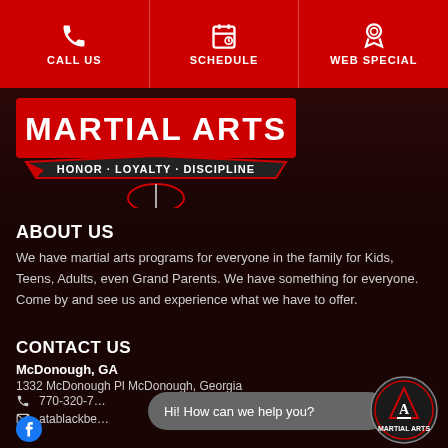CALL US | SCHEDULE | WEB SPECIAL
[Figure (logo): Martial Arts logo with text HONOR · LOYALTY · DISCIPLINE]
ABOUT US
We have martial arts programs for everyone in the family for Kids, Teens, Adults, even Grand Parents. We have something for everyone. Come by and see us and experience what we have to offer.
CONTACT US
McDonough, GA
1332 McDonough Pl McDonough, Georgia
770-320-7...
atablackbe...
[Figure (other): Chat bubble overlay: Hi! How can we help you?]
[Figure (logo): ATM Martial Arts circular logo bottom right]